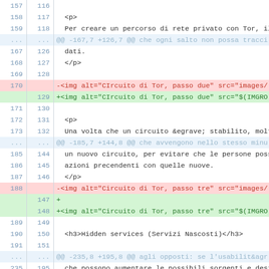| old | new | code |
| --- | --- | --- |
| 157 | 116 |  |
| 158 | 117 |   <p> |
| 159 | 118 |   Per creare un percorso di rete privato con Tor, il |
| ... | ... | @@ -167,7 +126,7 @@ che ogni salto non possa tracci |
| 167 | 126 |   dati. |
| 168 | 127 |   </p> |
| 169 | 128 |  |
| 170 |  | -<img alt="CIrcuito di Tor, passo due" src="images/ |
|  | 129 | +<img alt="CIrcuito di Tor, passo due" src="$(IMGRO |
| 171 | 130 |  |
| 172 | 131 |   <p> |
| 173 | 132 |   Una volta che un circuito &egrave; stabilito, molt |
| ... | ... | @@ -185,7 +144,8 @@ che avvengono nello stesso minu |
| 185 | 144 |   un nuovo circuito, per evitare che le persone poss |
| 186 | 145 |   azioni precendenti con quelle nuove. |
| 187 | 146 |   </p> |
| 188 |  | -<img alt="Circuito di Tor, passo tre" src="images/ |
|  | 147 | + |
|  | 148 | +<img alt="Circuito di Tor, passo tre" src="$(IMGRO |
| 189 | 149 |  |
| 190 | 150 |   <h3>Hidden services (Servizi Nascosti)</h3> |
| 191 | 151 |  |
| ... | ... | @@ -235,8 +195,8 @@ agli opposti: se l'usabilit&agr |
| 235 | 195 |   che possono aumentare le possibili sorgenti e dest |